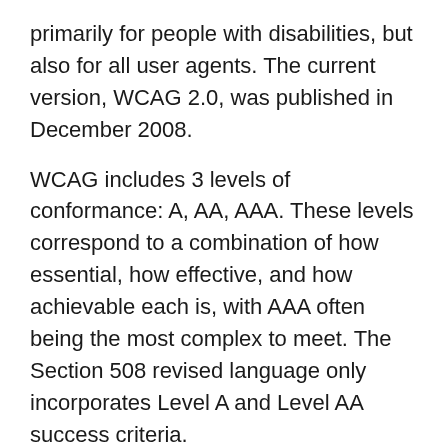primarily for people with disabilities, but also for all user agents. The current version, WCAG 2.0, was published in December 2008.
WCAG includes 3 levels of conformance: A, AA, AAA. These levels correspond to a combination of how essential, how effective, and how achievable each is, with AAA often being the most complex to meet. The Section 508 revised language only incorporates Level A and Level AA success criteria.
Another important clarification is the application of WCAG. As the title suggests, these guidelines were written with “web” content in mind. However, many of these requirements can also be applied to non-web content like software and documents. This same approach is used internationally with the most prominent example being the European Standard.